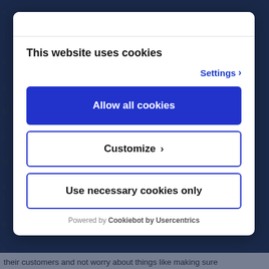This website uses cookies
Settings >
Allow all cookies
Customize >
Use necessary cookies only
Powered by Cookiebot by Usercentrics
their customers and not worry about things like making sure